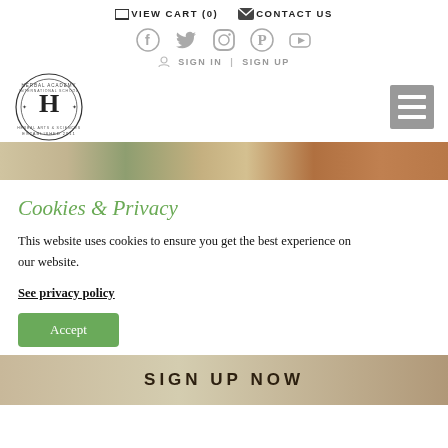VIEW CART (0)   CONTACT US
[Figure (logo): Social media icons row: Facebook, Twitter, Instagram, Pinterest, YouTube]
SIGN IN  |  SIGN UP
[Figure (logo): Herbal Academy International School circular logo with H in center, established 2011]
[Figure (photo): Herbal ingredients hero banner image strip]
Cookies & Privacy
This website uses cookies to ensure you get the best experience on our website.
See privacy policy
Accept
[Figure (photo): Bottom banner showing SIGN UP NOW text over herbal/nature imagery]